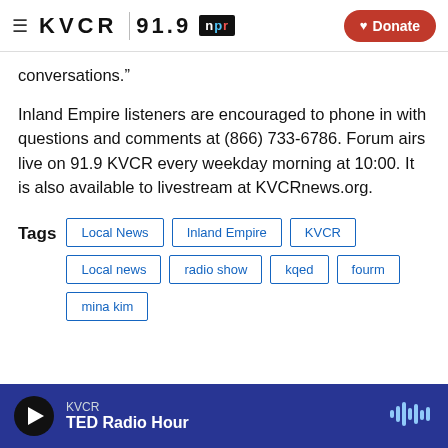KVCR 91.9 npr | Donate
conversations.”
Inland Empire listeners are encouraged to phone in with questions and comments at (866) 733-6786. Forum airs live on 91.9 KVCR every weekday morning at 10:00. It is also available to livestream at KVCRnews.org.
Tags: Local News | Inland Empire | KVCR | Local news | radio show | kqed | fourm | mina kim
KVCR – TED Radio Hour